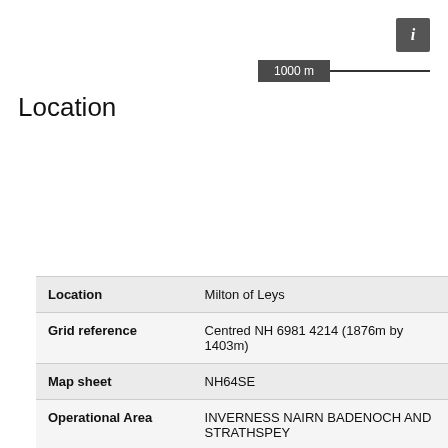[Figure (other): Map scale bar showing 1000m, with an info button (i) in top right corner]
Location
| Location | Milton of Leys |
| Grid reference | Centred NH 6981 4214 (1876m by 1403m) |
| Map sheet | NH64SE |
| Operational Area | INVERNESS NAIRN BADENOCH AND STRATHSPEY |
| Civil Parish | INVERNESS AND BONA |
| Geographical Area | INVERNESS |